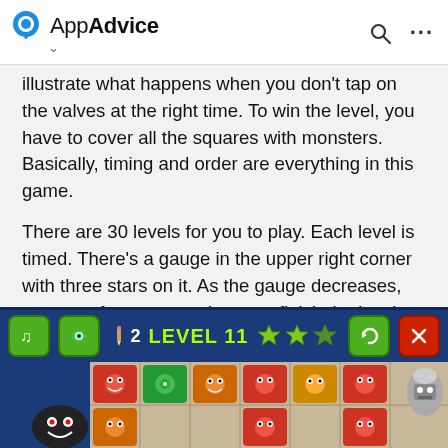AppAdvice
illustrate what happens when you don't tap on the valves at the right time. To win the level, you have to cover all the squares with monsters. Basically, timing and order are everything in this game.

There are 30 levels for you to play. Each level is timed. There's a gauge in the upper right corner with three stars on it. As the gauge decreases, you earn fewer stars when you finish the level. Unlike other games that use stars to unlock new levels, these stars seem to be purely for ornamental purposes. They just make you feel good about your progress.
[Figure (screenshot): Game screenshot showing Level 11 interface with blue background, green and red buttons on sides, level title 'LEVEL 11' in yellow-green, three star icons, pencil icon with count 2, and a game grid with colorful monster tiles on a beige grid.]